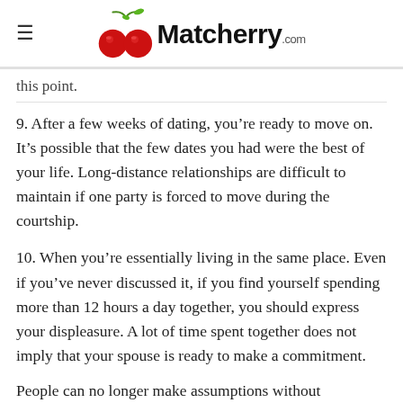Matcherry .com
this point.
9. After a few weeks of dating, you’re ready to move on. It’s possible that the few dates you had were the best of your life. Long-distance relationships are difficult to maintain if one party is forced to move during the courtship.
10. When you’re essentially living in the same place. Even if you’ve never discussed it, if you find yourself spending more than 12 hours a day together, you should express your displeasure. A lot of time spent together does not imply that your spouse is ready to make a commitment.
People can no longer make assumptions without